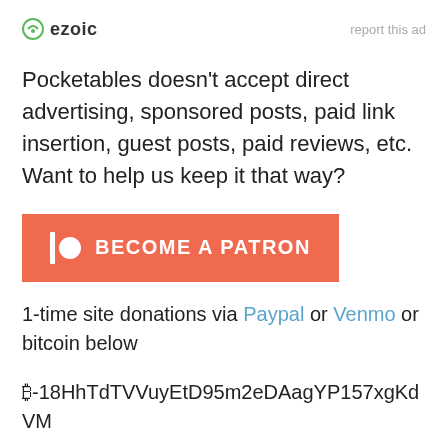ezoic   report this ad
Pocketables doesn't accept direct advertising, sponsored posts, paid link insertion, guest posts, paid reviews, etc. Want to help us keep it that way?
[Figure (infographic): Become a Patron button in coral/orange color with Patreon-style icon (vertical bar and circle) and white bold uppercase text]
1-time site donations via Paypal or Venmo or bitcoin below ₿-18HhTdTVVuyEtD95m2eDAagYP157xgKdVM
[Figure (screenshot): Social media icons row (Facebook, Twitter, Google+, YouTube, RSS) with 'No compatible source was found for this media.' message and X close button, overlaid with 'THE FREEDOM PHONE PROJECT' watermark text in red]